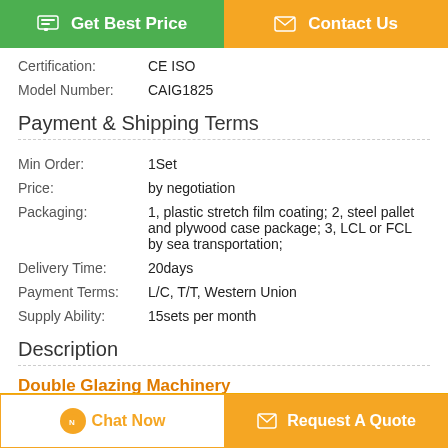[Figure (other): Two buttons: 'Get Best Price' (green) and 'Contact Us' (orange)]
Certification: CE ISO
Model Number: CAIG1825
Payment & Shipping Terms
Min Order: 1Set
Price: by negotiation
Packaging: 1, plastic stretch film coating; 2, steel pallet and plywood case package; 3, LCL or FCL by sea transportation;
Delivery Time: 20days
Payment Terms: L/C, T/T, Western Union
Supply Ability: 15sets per month
Description
Double Glazing Machinery
[Figure (other): Two buttons at bottom: 'Chat Now' (white/orange border) and 'Request A Quote' (orange)]